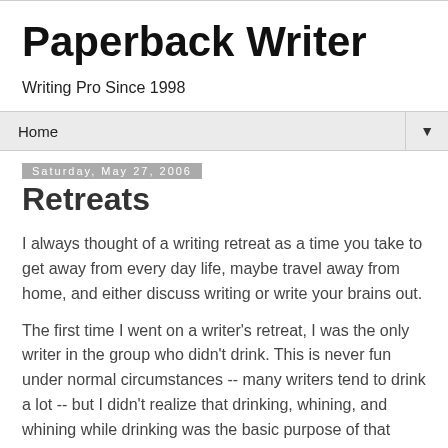Paperback Writer
Writing Pro Since 1998
Home
Saturday, May 27, 2006
Retreats
I always thought of a writing retreat as a time you take to get away from every day life, maybe travel away from home, and either discuss writing or write your brains out.
The first time I went on a writer's retreat, I was the only writer in the group who didn't drink. This is never fun under normal circumstances -- many writers tend to drink a lot -- but I didn't realize that drinking, whining, and whining while drinking was the basic purpose of that particular retreat. I spent most of